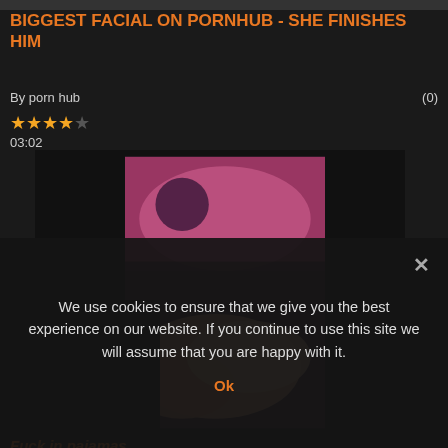[Figure (photo): Partial top thumbnail strip visible at top of page]
BIGGEST FACIAL ON PORNHUB - SHE FINISHES HIM
By porn hub (0)
[Figure (photo): Video thumbnail showing clothing with floral/pink pattern and a hand]
Fuck in pajamas
By porn hub (0)
We use cookies to ensure that we give you the best experience on our website. If you continue to use this site we will assume that you are happy with it.
Ok